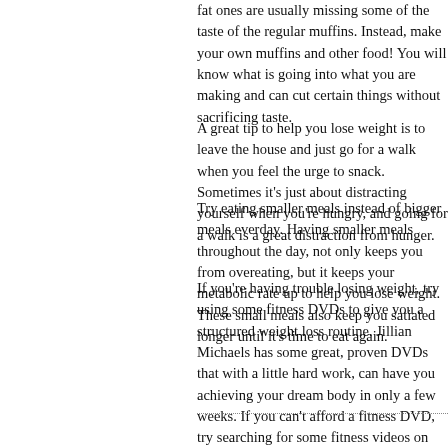fat ones are usually missing some of the taste of the regular muffins. Instead, make your own muffins and other food! You will know what is going into what you are making and can cut certain things without sacrificing taste.
A great tip to help you lose weight is to leave the house and just go for a walk when you feel the urge to snack. Sometimes it's just about distracting yourself when you're hungry, and going for a walk is a great distraction from hunger.
Try eating smaller meals instead of bigger meals everday. Having smaller meals throughout the day, not only keeps you from overeating, but it keeps your metabolic rate up to help you lose weight. These small meals also keep you satiated longer until it's time to eat again.
If you're having trouble losing weight, try using some fitness DVDs to give you a structured weight loss routine. Jillian Michaels has some great, proven DVDs that with a little hard work, can have you achieving your dream body in only a few weeks. If you can't afford a fitness DVD, try searching for some fitness videos on YouTube.
A key tip for anyone embarking on a weight loss program is to shift focus away from the number on the scale. Weighing oneself on a daily basis can seriously undermine weight loss efforts because normal fluctuations that will surely register on the scale can have a devastating effect on motivation and morale. A better strategy is concentrate on positive changes in body shape and stamina, rather than on actual weight in pounds.